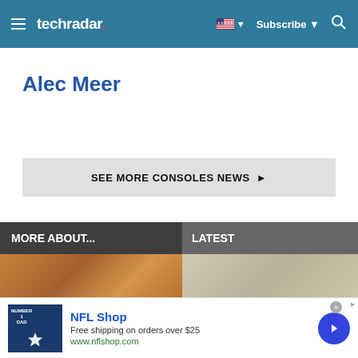techradar — Subscribe — Search
Alec Meer
SEE MORE CONSOLES NEWS ▶
MORE ABOUT...
LATEST
[Figure (other): Ad banner: NFL Shop — Free shipping on orders over $25 — www.nflshop.com]
NFL Shop. Free shipping on orders over $25. www.nflshop.com